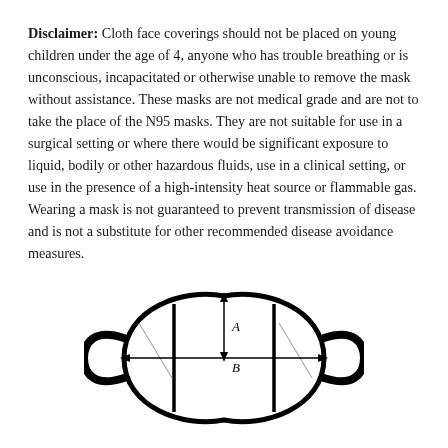Disclaimer: Cloth face coverings should not be placed on young children under the age of 4, anyone who has trouble breathing or is unconscious, incapacitated or otherwise unable to remove the mask without assistance. These masks are not medical grade and are not to take the place of the N95 masks. They are not suitable for use in a surgical setting or where there would be significant exposure to liquid, bodily or other hazardous fluids, use in a clinical setting, or use in the presence of a high-intensity heat source or flammable gas. Wearing a mask is not guaranteed to prevent transmission of disease and is not a substitute for other recommended disease avoidance measures.
[Figure (illustration): Diagram of a cloth face mask viewed from the front, showing measurement indicators. A vertical arrow labeled 'A' points from the top to the center, and a horizontal arrow labeled 'B' spans the full width of the mask at center height.]